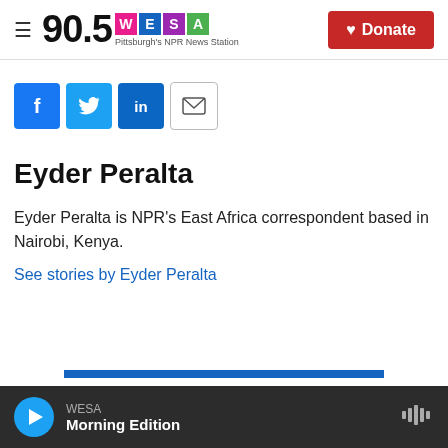90.5 WESA Pittsburgh's NPR News Station | Donate
[Figure (infographic): Social sharing icons: Facebook, Twitter, LinkedIn, Email]
Eyder Peralta
Eyder Peralta is NPR's East Africa correspondent based in Nairobi, Kenya.
See stories by Eyder Peralta
WESA Morning Edition